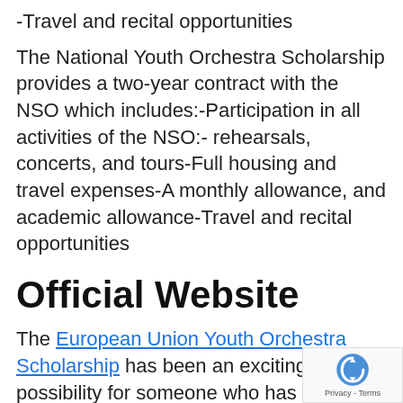-Travel and recital opportunities
The National Youth Orchestra Scholarship provides a two-year contract with the NSO which includes:-Participation in all activities of the NSO:- rehearsals, concerts, and tours-Full housing and travel expenses-A monthly allowance, and academic allowance-Travel and recital opportunities
Official Website
The European Union Youth Orchestra Scholarship has been an exciting possibility for someone who has been passionate about music and wants to continue their music education.